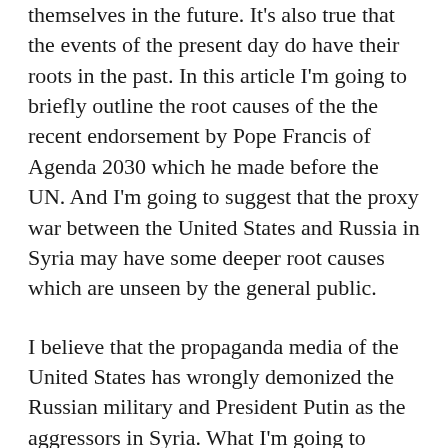themselves in the future. It's also true that the events of the present day do have their roots in the past. In this article I'm going to briefly outline the root causes of the the recent endorsement by Pope Francis of Agenda 2030 which he made before the UN. And I'm going to suggest that the proxy war between the United States and Russia in Syria may have some deeper root causes which are unseen by the general public.
I believe that the propaganda media of the United States has wrongly demonized the Russian military and President Putin as the aggressors in Syria. What I'm going to suggest here is that this propaganda media spin on the situation Syria is not really accurate. Given Turkey's hostility toward Russia and Syria's proximity to Russia, President Putin can hardly be expected to ignore the military build-up that has taken there by forces hostile to Russia.